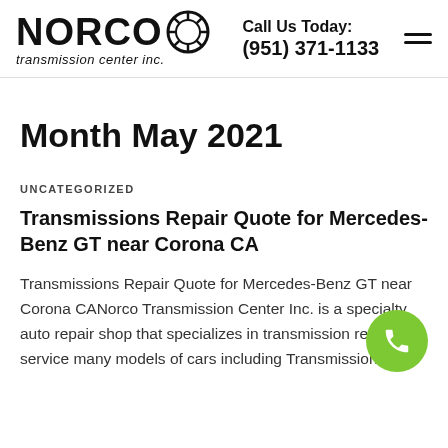NORCO transmission center inc. | Call Us Today: (951) 371-1133
Month May 2021
UNCATEGORIZED
Transmissions Repair Quote for Mercedes-Benz GT near Corona CA
Transmissions Repair Quote for Mercedes-Benz GT near Corona CANorco Transmission Center Inc. is a specialty auto repair shop that specializes in transmission repair. We service many models of cars including Transmissions